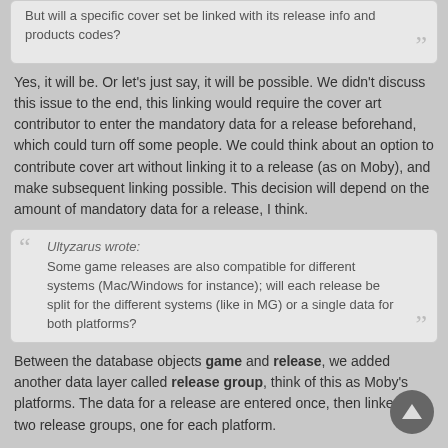But will a specific cover set be linked with its release info and products codes?
Yes, it will be. Or let's just say, it will be possible. We didn't discuss this issue to the end, this linking would require the cover art contributor to enter the mandatory data for a release beforehand, which could turn off some people. We could think about an option to contribute cover art without linking it to a release (as on Moby), and make subsequent linking possible. This decision will depend on the amount of mandatory data for a release, I think.
Ultyzarus wrote: Some game releases are also compatible for different systems (Mac/Windows for instance); will each release be split for the different systems (like in MG) or a single data for both platforms?
Between the database objects game and release, we added another data layer called release group, think of this as Moby's platforms. The data for a release are entered once, then linked to two release groups, one for each platform.